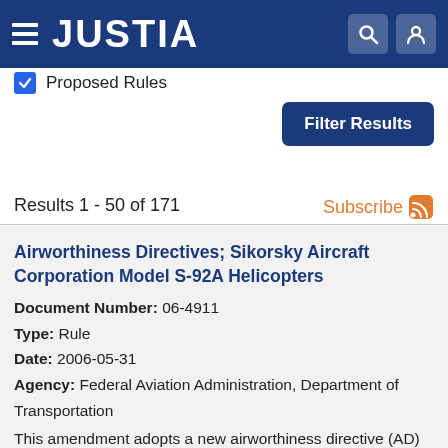JUSTIA
Proposed Rules
Filter Results
Results 1 - 50 of 171
Subscribe
Airworthiness Directives; Sikorsky Aircraft Corporation Model S-92A Helicopters
Document Number: 06-4911
Type: Rule
Date: 2006-05-31
Agency: Federal Aviation Administration, Department of Transportation
This amendment adopts a new airworthiness directive (AD) for the specified Sikorsky Aircraft Corporation (Sikorsky) Model S-92A helicopters. This amendment